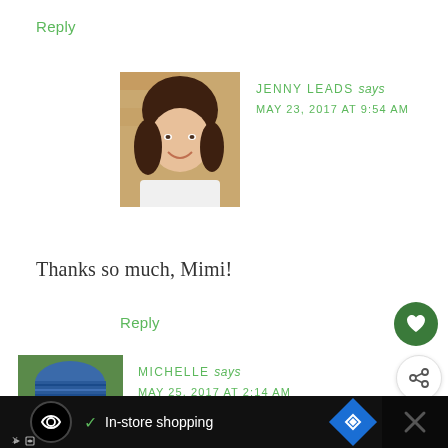Reply
JENNY LEADS says
MAY 23, 2017 AT 9:54 AM
[Figure (photo): Profile photo of Jenny Leads, a woman with brown hair wearing a white shirt, smiling in front of a brick wall]
Thanks so much, Mimi!
Reply
[Figure (photo): Green circular heart/like button icon]
[Figure (photo): White circular share button icon]
[Figure (photo): Profile photo of Michelle, a woman wearing a blue knit hat and sunglasses outdoors]
MICHELLE says
MAY 25, 2017 AT 2:14 AM
WHAT'S NEXT → Reclaimed Wood...
✓ In-store shopping